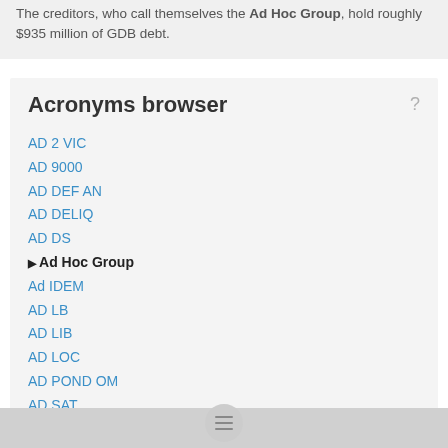The creditors, who call themselves the Ad Hoc Group, hold roughly $935 million of GDB debt.
Acronyms browser
AD 2 VIC
AD 9000
AD DEF AN
AD DELIQ
AD DS
Ad Hoc Group
Ad IDEM
AD LB
AD LIB
AD LOC
AD POND OM
AD SAT